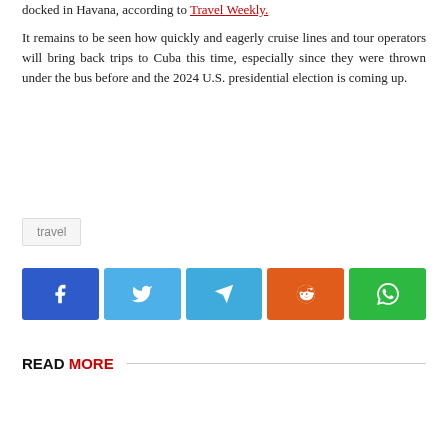docked in Havana, according to Travel Weekly.
It remains to be seen how quickly and eagerly cruise lines and tour operators will bring back trips to Cuba this time, especially since they were thrown under the bus before and the 2024 U.S. presidential election is coming up.
travel
[Figure (infographic): Social share buttons row: Facebook (blue), Twitter (light blue), Telegram (blue), Reddit (orange), WhatsApp (green)]
READ MORE